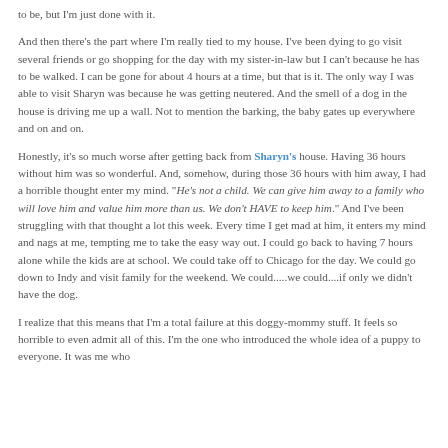to be, but I'm just done with it.
And then there's the part where I'm really tied to my house. I've been dying to go visit several friends or go shopping for the day with my sister-in-law but I can't because he has to be walked. I can be gone for about 4 hours at a time, but that is it. The only way I was able to visit Sharyn was because he was getting neutered. And the smell of a dog in the house is driving me up a wall. Not to mention the barking, the baby gates up everywhere and on and on.
Honestly, it's so much worse after getting back from Sharyn's house. Having 36 hours without him was so wonderful. And, somehow, during those 36 hours with him away, I had a horrible thought enter my mind. "He's not a child. We can give him away to a family who will love him and value him more than us. We don't HAVE to keep him." And I've been struggling with that thought a lot this week. Every time I get mad at him, it enters my mind and nags at me, tempting me to take the easy way out. I could go back to having 7 hours alone while the kids are at school. We could take off to Chicago for the day. We could go down to Indy and visit family for the weekend. We could.....we could....if only we didn't have the dog.
I realize that this means that I'm a total failure at this doggy-mommy stuff. It feels so horrible to even admit all of this. I'm the one who introduced the whole idea of a puppy to everyone. It was me who